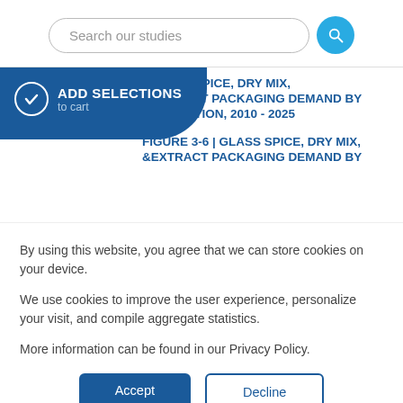Search our studies
ADD SELECTIONS to cart
| GLASS SPICE, DRY MIX, &EXTRACT PACKAGING DEMAND BY APPLICATION, 2010 - 2025
FIGURE 3-6 | GLASS SPICE, DRY MIX, &EXTRACT PACKAGING DEMAND BY
By using this website, you agree that we can store cookies on your device.
We use cookies to improve the user experience, personalize your visit, and compile aggregate statistics.
More information can be found in our Privacy Policy.
Accept
Decline